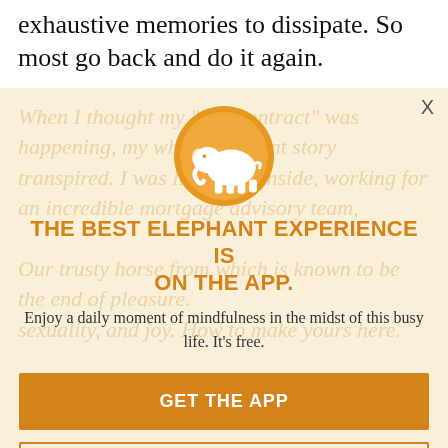exhaustive memories to dissipate. So most go back and do it again.
[Figure (screenshot): App promotion modal/popup overlay with elephant logo, headline 'THE BEST ELEPHANT EXPERIENCE IS ON THE APP.', subtitle text, GET THE APP button, and OPEN IN APP button, on a warm beige background with faint italic text visible behind.]